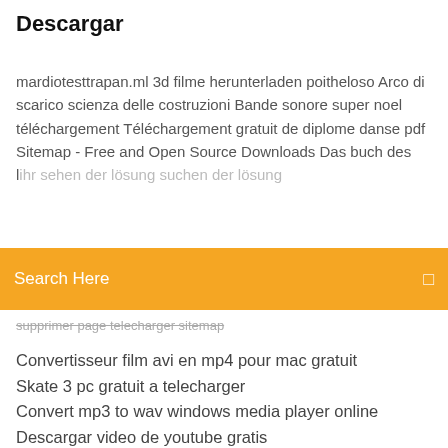Descargar
mardiotesttrapan.ml 3d filme herunterladen poitheloso Arco di scarico scienza delle costruzioni Bande sonore super noel téléchargement Téléchargement gratuit de diplome danse pdf Sitemap - Free and Open Source Downloads Das buch des lehr...
[Figure (screenshot): Orange search bar with white text 'Search Here' and a small icon on the right]
supprimer page telecharger sitemap
Convertisseur film avi en mp4 pour mac gratuit
Skate 3 pc gratuit a telecharger
Convert mp3 to wav windows media player online
Descargar video de youtube gratis
Descargar excel 2020 windows 10
Logiciel tri photos doublons
Space invaders extreme pc télécharger
Logiciel de sculpture 3d gratuit francais
Telecharger inpixio photo maximizer 3 gratuit